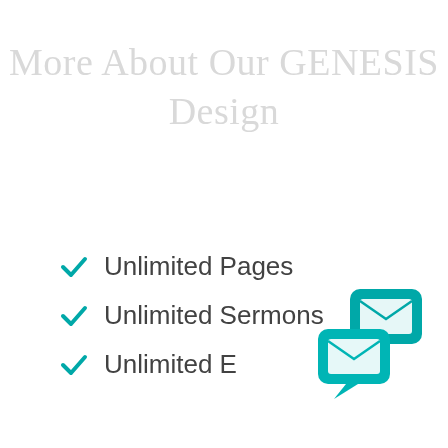More About Our GENESIS Design
Unlimited Pages
Unlimited Sermons
Unlimited E...
[Figure (illustration): Two teal speech bubble icons with envelope/mail symbols inside, stacked overlapping in the bottom-right corner]